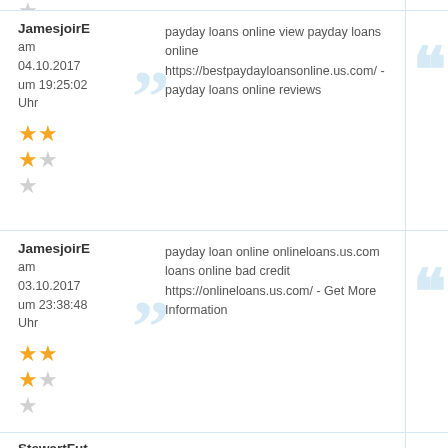JamesjoirE am 04.10.2017 um 19:25:02 Uhr — 2.5 stars — payday loans online view payday loans online https://bestpaydayloansonline.us.com/ - payday loans online reviews
JamesjoirE am 03.10.2017 um 23:38:48 Uhr — 2.5 stars — payday loan online onlineloans.us.com loans online bad credit https://onlineloans.us.com/ - Get More Information
StewartFut am